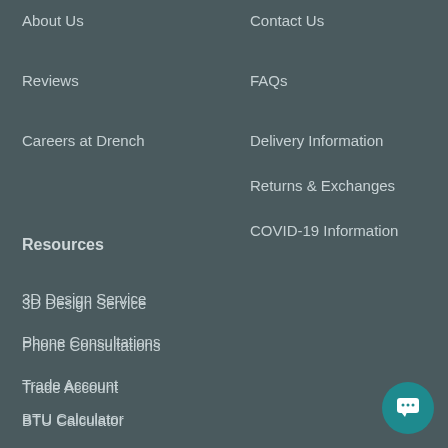About Us
Contact Us
Reviews
FAQs
Careers at Drench
Delivery Information
Returns & Exchanges
COVID-19 Information
Resources
3D Design Service
Phone Consultations
Trade Account
BTU Calculator
Blog
Beyond Outlet